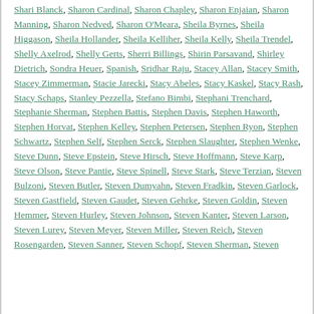Shari Blanck, Sharon Cardinal, Sharon Chapley, Sharon Enjaian, Sharon Manning, Sharon Nedved, Sharon O'Meara, Sheila Byrnes, Sheila Higgason, Sheila Hollander, Sheila Kelliher, Sheila Kelly, Sheila Trendel, Shelly Axelrod, Shelly Gerts, Sherri Billings, Shirin Parsavand, Shirley Dietrich, Sondra Heuer, Spanish, Sridhar Raju, Stacey Allan, Stacey Smith, Stacey Zimmerman, Stacie Jarecki, Stacy Abeles, Stacy Kaskel, Stacy Rash, Stacy Schaps, Stanley Pezzella, Stefano Bimbi, Stephani Trenchard, Stephanie Sherman, Stephen Battis, Stephen Davis, Stephen Haworth, Stephen Horvat, Stephen Kelley, Stephen Petersen, Stephen Ryon, Stephen Schwartz, Stephen Self, Stephen Serck, Stephen Slaughter, Stephen Wenke, Steve Dunn, Steve Epstein, Steve Hirsch, Steve Hoffmann, Steve Karp, Steve Olson, Steve Pantie, Steve Spinell, Steve Stark, Steve Terzian, Steven Bulzoni, Steven Butler, Steven Dumyahn, Steven Fradkin, Steven Garlock, Steven Gastfield, Steven Gaudet, Steven Gehrke, Steven Goldin, Steven Hemmer, Steven Hurley, Steven Johnson, Steven Kanter, Steven Larson, Steven Lurey, Steven Meyer, Steven Miller, Steven Reich, Steven Rosengarden, Steven Sanner, Steven Schopf, Steven Sherman, Steven